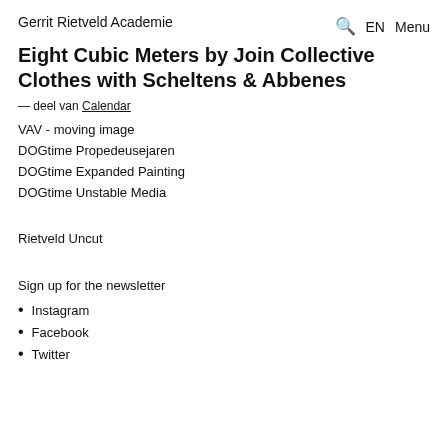Gerrit Rietveld Academie
Eight Cubic Meters by Join Collective Clothes with Scheltens & Abbenes
— deel van Calendar
VAV - moving image
DOGtime Propedeusejaren
DOGtime Expanded Painting
DOGtime Unstable Media
Rietveld Uncut
Sign up for the newsletter
Instagram
Facebook
Twitter